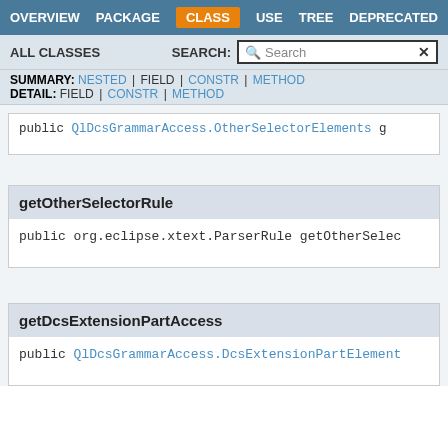OVERVIEW  PACKAGE  CLASS  USE  TREE  DEPRECATED
ALL CLASSES  SEARCH:
SUMMARY: NESTED | FIELD | CONSTR | METHOD  DETAIL: FIELD | CONSTR | METHOD
public QlDcsGrammarAccess.OtherSelectorElements g
getOtherSelectorRule
public org.eclipse.xtext.ParserRule getOtherSelec
getDcsExtensionPartAccess
public QlDcsGrammarAccess.DcsExtensionPartElement